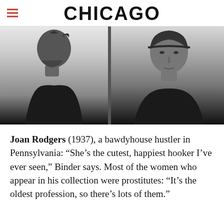CHICAGO
[Figure (photo): Black and white mugshot-style photograph showing two views of a woman: profile (side view) on the left, and front-facing on the right. The woman has short dark hair and is wearing a dark top. The background is light/white.]
Joan Rodgers (1937), a bawdyhouse hustler in Pennsylvania: “She’s the cutest, happiest hooker I’ve ever seen,” Binder says. Most of the women who appear in his collection were prostitutes: “It’s the oldest profession, so there’s lots of them.”